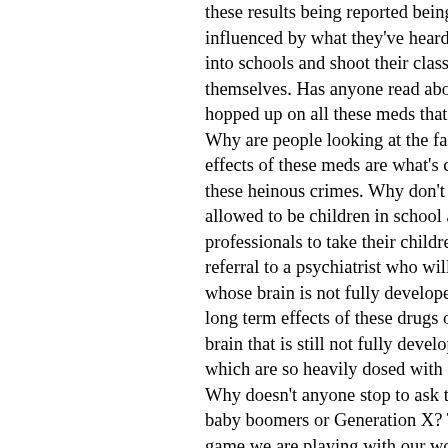these results being reported being subjective, parents re influenced by what they've heard/read. Its only in the U into schools and shoot their classmates and teachers and themselves. Has anyone read about the number of these hopped up on all these meds that we are putting our chil Why are people looking at the fact that we are overmedi effects of these meds are what's causing them to go into these heinous crimes. Why don't we talk about the fact th allowed to be children in school and parents are being pr professionals to take their children to talk to someone an referral to a psychiatrist who will perform a subjective te whose brain is not fully developed yet. The medical com long term effects of these drugs on a fully developed adu brain that is still not fully developed. I can't even get sta which are so heavily dosed with artificial ingredients an Why doesn't anyone stop to ask the question why we did baby boomers or Generation X? There are so many facto game we are playing with our world most precious resou future. Parenting skills have diminished despite the incre resources on how to parent. Sense of community has pr replaced by self-centered goals and the family unit has d the blended family is the new norm. What are we teachi seeing at home? Is anyone measuring the effects of what by the examples that we live each and everyday? I've vo working with children of all ages, ranging from age 6 to